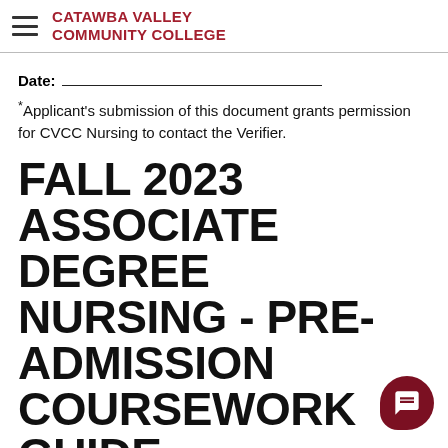CATAWBA VALLEY COMMUNITY COLLEGE
Date:
*Applicant's submission of this document grants permission for CVCC Nursing to contact the Verifier.
FALL 2023 ASSOCIATE DEGREE NURSING - PRE-ADMISSION COURSEWORK GUIDE
The information provided below is for planning purposes only. Admission and curriculum requirements are subject to change without notice.